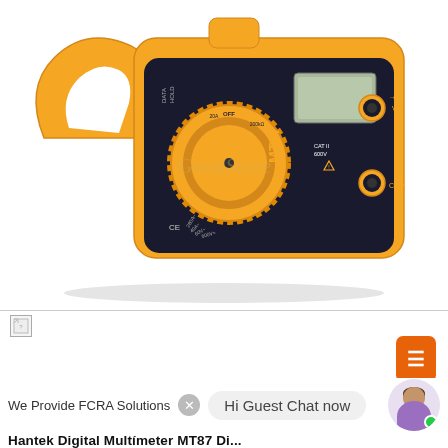[Figure (photo): Orange digital clamp multimeter MT87 with LCD display, rotary dial, and probe ports. Brand watermark 'GoodStore' visible. Yellow/orange body with black face panel showing CAT II 600V rating.]
[Figure (photo): Broken image placeholder icon (small square with fold)]
We Provide FCRA Solutions
Hi Guest Chat now
Hantek Digital Multimeter MT87 Di...